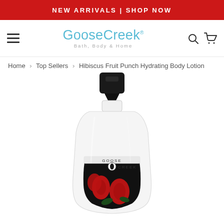NEW ARRIVALS | SHOP NOW
[Figure (logo): GooseCreek Bath, Body & Home logo with navigation hamburger menu, search and cart icons]
Home › Top Sellers › Hibiscus Fruit Punch Hydrating Body Lotion
[Figure (photo): Goose Creek Hibiscus Fruit Punch Hydrating Body Lotion bottle - white bottle with black pump cap and dark label featuring red hibiscus flowers]